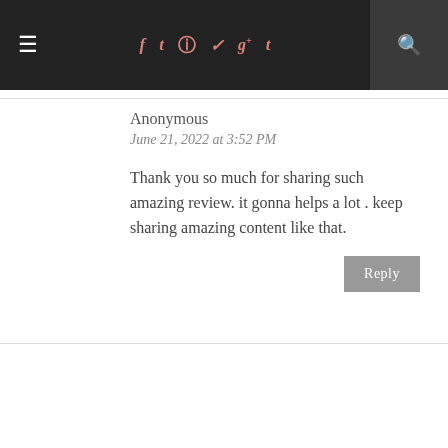≡  f  t  ☰  ♛  g+  t  🔍
Anonymous
June 21, 2022 at 3:52 PM

Thank you so much for sharing such amazing review. it gonna helps a lot . keep sharing amazing content like that.
Reply